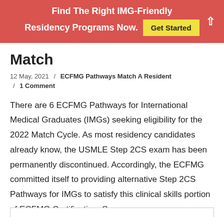Find The Right IMG-Friendly Residency Programs Now. Get Started
Match
12 May, 2021 / ECFMG Pathways Match A Resident / 1 Comment
There are 6 ECFMG Pathways for International Medical Graduates (IMGs) seeking eligibility for the 2022 Match Cycle. As most residency candidates already know, the USMLE Step 2CS exam has been permanently discontinued. Accordingly, the ECFMG committed itself to providing alternative Step 2CS Pathways for IMGs to satisfy this clinical skills portion of ECFMG Certification. So,